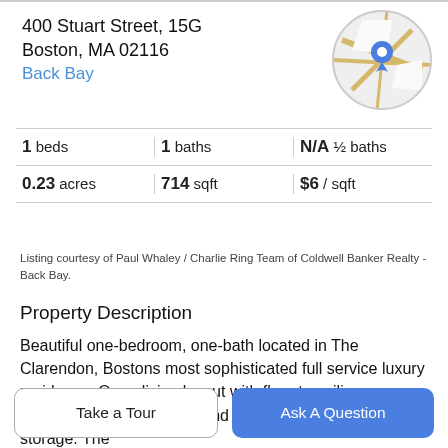400 Stuart Street, 15G
Boston, MA 02116
Back Bay
[Figure (map): Circular map thumbnail showing street map with blue location pin marker]
| 1 beds | 1 baths | N/A ½ baths |
| 0.23 acres | 714 sqft | $6 / sqft |
Listing courtesy of Paul Whaley / Charlie Ring Team of Coldwell Banker Realty - Back Bay.
Property Description
Beautiful one-bedroom, one-bath located in The Clarendon, Bostons most sophisticated full service luxury residence. Open living layout with floor to ceiling windows, classic built-ins and an abundance of in unit storage. The